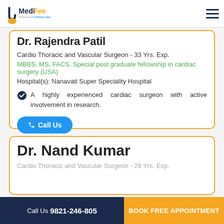MediFee - Powered by Pristyn Care
Dr. Rajendra Patil
Cardio Thoracic and Vascular Surgeon - 33 Yrs. Exp.
MBBS, MS, FACS, Special post graduate fellowship in cardiac surgery (USA)
Hospital(s): Nanavati Super Speciality Hospital
A highly experienced cardiac surgeon with active involvement in research.
Dr. Nand Kumar
Cardio Thoracic and Vascular Surgeon - 29 Yrs. Exp.
Call Us 9821-246-805 | BOOK FREE APPOINTMENT